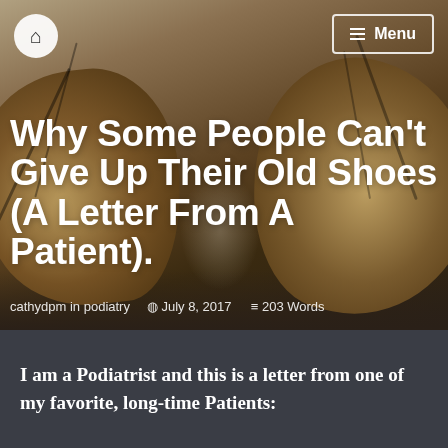[Figure (photo): Close-up photo of a pair of very old, worn-out sneakers/running shoes with frayed laces, shot from low angle against a blurred background]
🏠  ≡ Menu
Why Some People Can't Give Up Their Old Shoes (A Letter From A Patient).
cathydpm in podiatry   🕐 July 8, 2017   ≡ 203 Words
I am a Podiatrist and this is a letter from one of my favorite, long-time Patients: